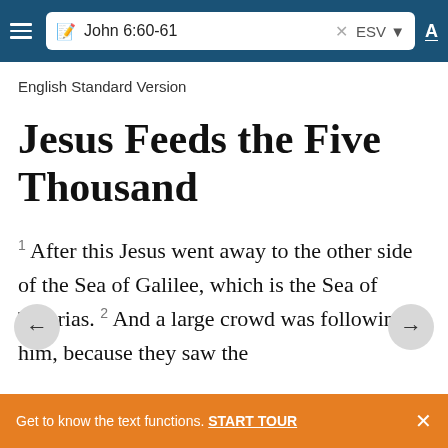John 6:60-61  ESV
English Standard Version
Jesus Feeds the Five Thousand
1 After this Jesus went away to the other side of the Sea of Galilee, which is the Sea of Tiberias. 2 And a large crowd was following him, because they saw the
Get to know the text functions. START TOUR